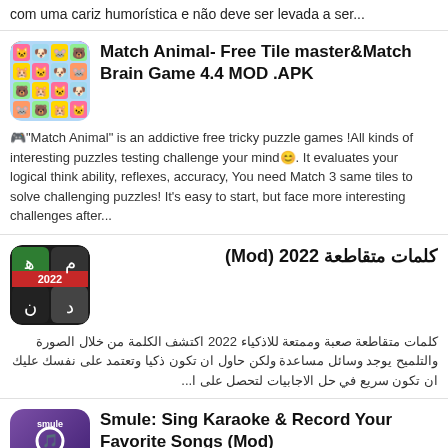com uma cariz humorística e não deve ser levada a ser...
Match Animal- Free Tile master&Match Brain Game 4.4 MOD .APK
🎮"Match Animal" is an addictive free tricky puzzle games !All kinds of interesting puzzles testing challenge your mind😊. It evaluates your logical think ability, reflexes, accuracy, You need Match 3 same tiles to solve challenging puzzles! It's easy to start, but face more interesting challenges after...
كلمات متقاطعة 2022 (Mod)
كلمات متقاطعة صعبة وممتعة للاذكياء 2022 اكتشف الكلمة من خلال الصورة والتلميح يوجد وسائل مساعدة ولكن حاول ان تكون ذكيا وتعتمد على نفسك عليك ان تكون سريع في حل الاجابيات لتحصل على ا...
Smule: Sing Karaoke & Record Your Favorite Songs (Mod)